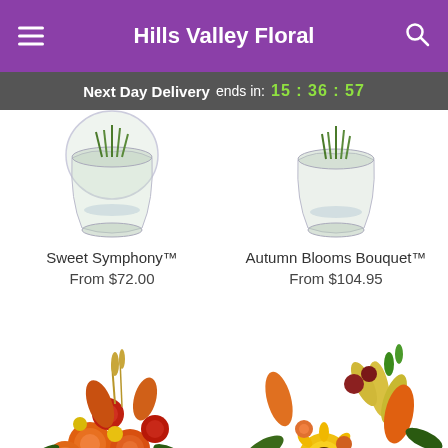Hills Valley Floral
Next Day Delivery ends in: 15 : 36 : 57
[Figure (photo): Floral bouquet in clear glass vase - Sweet Symphony]
Sweet Symphony™
From $72.00
[Figure (photo): Floral bouquet in clear glass vase - Autumn Blooms Bouquet]
Autumn Blooms Bouquet™
From $104.95
[Figure (photo): Orange roses and lilies autumn bouquet in green vase]
[Figure (photo): Sunflowers and lilies autumn arrangement in yellow box]